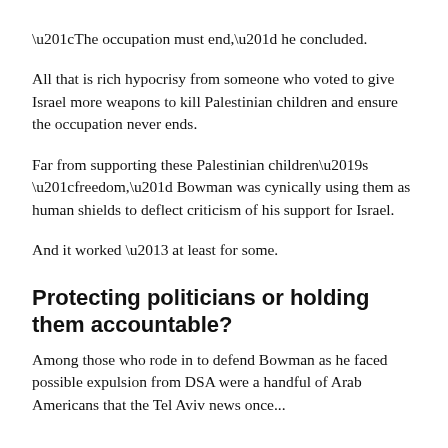“The occupation must end,” he concluded.
All that is rich hypocrisy from someone who voted to give Israel more weapons to kill Palestinian children and ensure the occupation never ends.
Far from supporting these Palestinian children’s “freedom,” Bowman was cynically using them as human shields to deflect criticism of his support for Israel.
And it worked – at least for some.
Protecting politicians or holding them accountable?
Among those who rode in to defend Bowman as he faced possible expulsion from DSA were a handful of Arab Americans that the Tel Aviv news once...